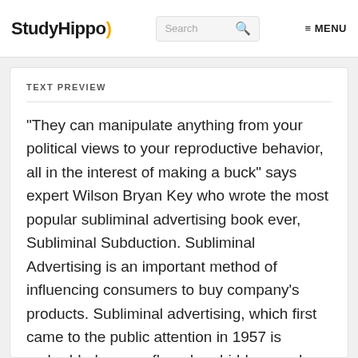StudyHippo) Search ≡ MENU
TEXT PREVIEW
"They can manipulate anything from your political views to your reproductive behavior, all in the interest of making a buck" says expert Wilson Bryan Key who wrote the most popular subliminal advertising book ever, Subliminal Subduction. Subliminal Advertising is an important method of influencing consumers to buy company's products. Subliminal advertising, which first came to the public attention in 1957 is embedded, camouflaged, or hidden words and/or